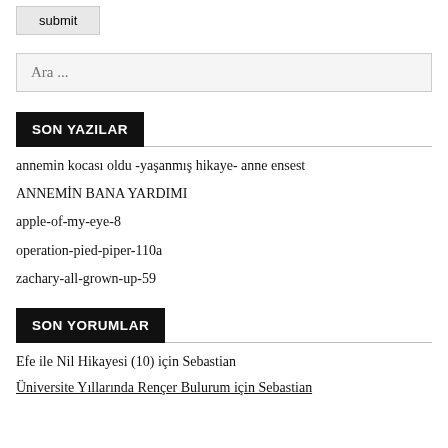submit
Ara ...
SON YAZILAR
annemin kocası oldu -yaşanmış hikaye- anne ensest
ANNEMİN BANA YARDIMI
apple-of-my-eye-8
operation-pied-piper-110a
zachary-all-grown-up-59
SON YORUMLAR
Efe ile Nil Hikayesi (10) için Sebastian
Üniversite Yıllarında Rençer Bulurum için Sebastian